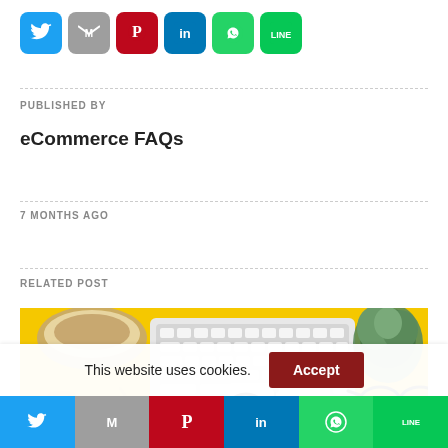[Figure (infographic): Row of six social media share buttons: Twitter (blue), Gmail (gray), Pinterest (red), LinkedIn (blue), WhatsApp (green), Line (green)]
PUBLISHED BY
eCommerce FAQs
7 MONTHS AGO
RELATED POST
[Figure (photo): Photo of a yellow desk with a white keyboard, coffee cup, succulent plant, glasses, notepad and paper clips. Text visible: WHAT IS]
This website uses cookies.
[Figure (infographic): Bottom social share bar with six buttons: Twitter (blue), Gmail (gray), Pinterest (red), LinkedIn (blue), WhatsApp (green), Line (green)]